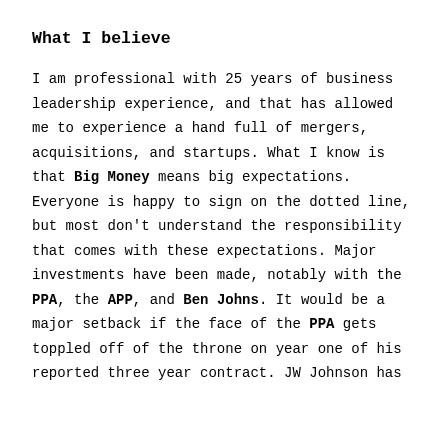What I believe
I am professional with 25 years of business leadership experience, and that has allowed me to experience a hand full of mergers, acquisitions, and startups. What I know is that Big Money means big expectations. Everyone is happy to sign on the dotted line, but most don't understand the responsibility that comes with these expectations. Major investments have been made, notably with the PPA, the APP, and Ben Johns. It would be a major setback if the face of the PPA gets toppled off of the throne on year one of his reported three year contract. JW Johnson has